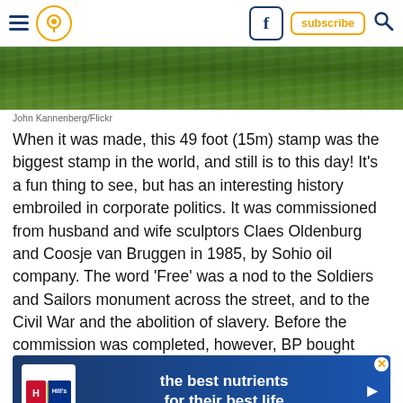Navigation header with hamburger menu, location icon, Facebook icon, subscribe button, and search icon
[Figure (photo): Green grass field/lawn photograph spanning full width]
John Kannenberg/Flickr
When it was made, this 49 foot (15m) stamp was the biggest stamp in the world, and still is to this day! It's a fun thing to see, but has an interesting history embroiled in corporate politics. It was commissioned from husband and wife sculptors Claes Oldenburg and Coosje van Bruggen in 1985, by Sohio oil company. The word 'Free' was a nod to the Soldiers and Sailors monument across the street, and to the Civil War and the abolition of slavery. Before the commission was completed, however, BP bought Sohio and rejected the stamp, believing it was a statement against corporat... it was banned from the property forever. The stamp was in storage for 6 years, until it was placed in Willard Park in 1991.
[Figure (other): Advertisement banner: Hill's pet nutrition - 'the best nutrients for their best life']